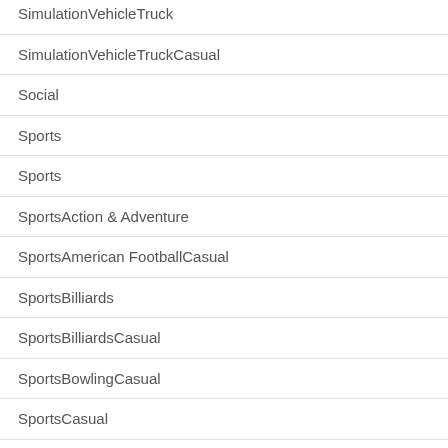SimulationVehicleTruck
SimulationVehicleTruckCasual
Social
Sports
Sports
SportsAction & Adventure
SportsAmerican FootballCasual
SportsBilliards
SportsBilliardsCasual
SportsBowlingCasual
SportsCasual
SportsCricket
SportsGolfCasual